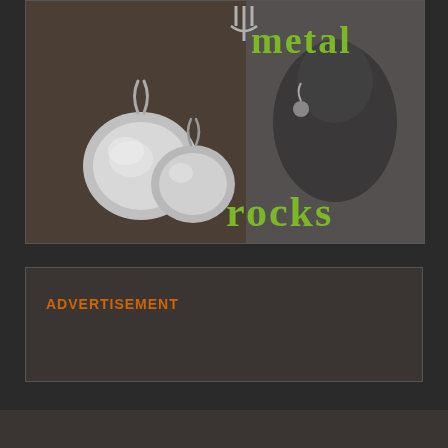[Figure (illustration): A promotional image showing silver metallic disc earrings on a dark textured background on the left, and a dark sculptural form on the right. Green text reads 'metal' at the top and 'rocks' at the bottom.]
ADVERTISEMENT